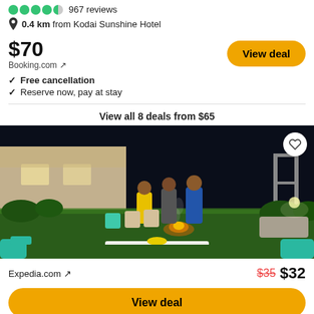967 reviews
0.4 km from Kodai Sunshine Hotel
$70
Booking.com ↗
Free cancellation
Reserve now, pay at stay
View all 8 deals from $65
[Figure (photo): Outdoor night scene at a property: people gathered around a campfire on a green lawn, plastic chairs around, building in background, string lights.]
Expedia.com ↗  $35  $32
View deal